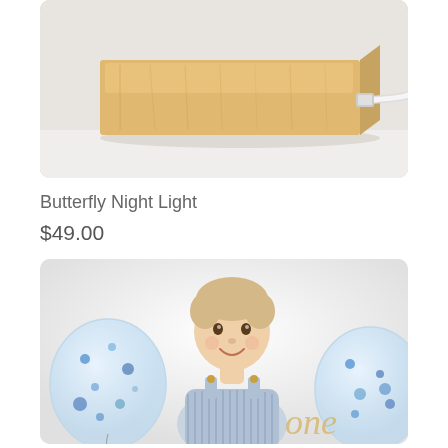[Figure (photo): Close-up photo of a wooden rectangular LED night light base with a white cable attached, sitting on a white surface. The wooden block is light natural wood tone.]
Butterfly Night Light
$49.00
[Figure (photo): Photo of a smiling baby/toddler seated between two clear confetti balloons with blue dots, wearing a blue striped romper with gold buttons. In front is a decorative wooden 'one' sign in gold/cream lettering, suggesting a first birthday celebration. White background.]